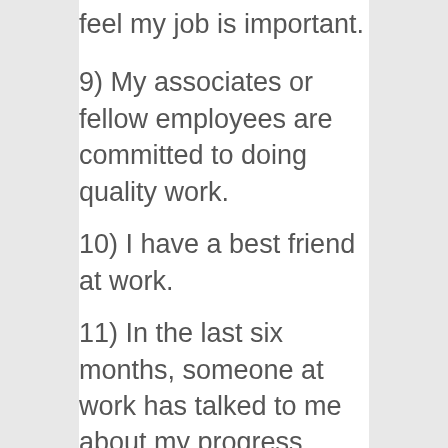feel my job is important.
9) My associates or fellow employees are committed to doing quality work.
10) I have a best friend at work.
11) In the last six months, someone at work has talked to me about my progress.
12) This last year, I have had opportunities at work to learn and grow.
I will be writing a good deal more about my thoughts on